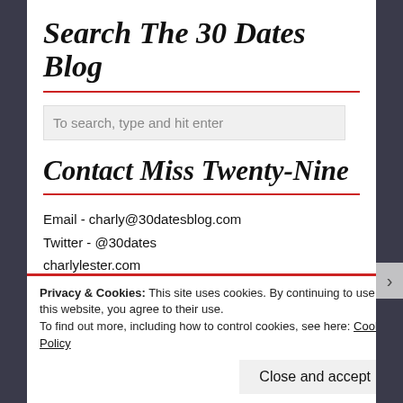Search The 30 Dates Blog
To search, type and hit enter
Contact Miss Twenty-Nine
Email - charly@30datesblog.com
Twitter - @30dates
charlylester.com
Privacy & Cookies: This site uses cookies. By continuing to use this website, you agree to their use.
To find out more, including how to control cookies, see here: Cookie Policy
Close and accept